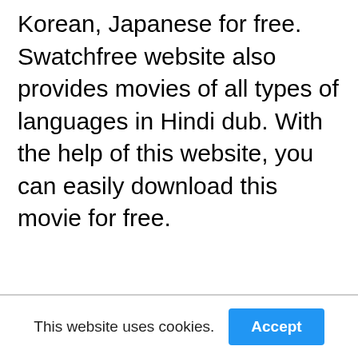Korean, Japanese for free. Swatchfree website also provides movies of all types of languages in Hindi dub. With the help of this website, you can easily download this movie for free.
This website uses cookies.